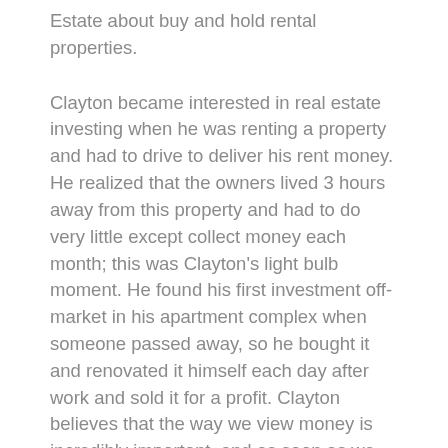Estate about buy and hold rental properties.
Clayton became interested in real estate investing when he was renting a property and had to drive to deliver his rent money. He realized that the owners lived 3 hours away from this property and had to do very little except collect money each month; this was Clayton's light bulb moment. He found his first investment off-market in his apartment complex when someone passed away, so he bought it and renovated it himself each day after work and sold it for a profit. Clayton believes that the way we view money is incredibly important, and as soon as we see it as something that flows through us rather than something to hold onto; this is when the changes can be seen.
Clayton is a big proponent of financial freedom and